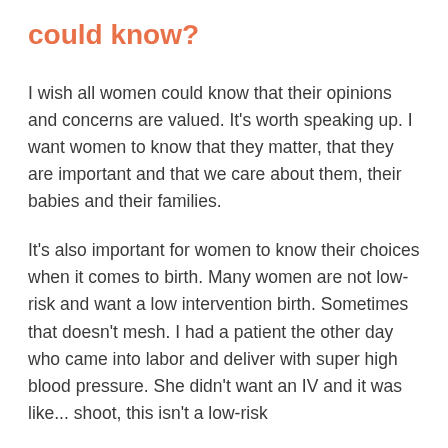could know?
I wish all women could know that their opinions and concerns are valued. It’s worth speaking up. I want women to know that they matter, that they are important and that we care about them, their babies and their families.
It’s also important for women to know their choices when it comes to birth. Many women are not low-risk and want a low intervention birth. Sometimes that doesn’t mesh. I had a patient the other day who came into labor and deliver with super high blood pressure. She didn’t want an IV and it was like... shoot, this isn’t a low-risk